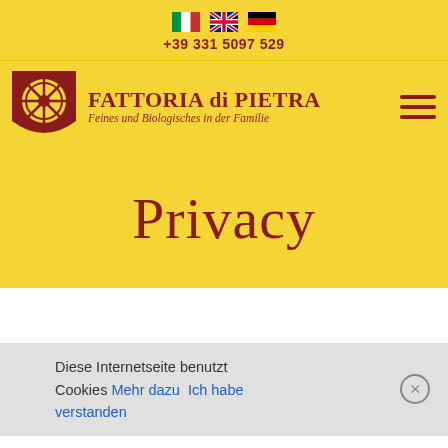[Figure (other): Three national flag icons: Italian flag, UK flag, German flag]
+39 331 5097 529
[Figure (logo): Fattoria di Pietra logo: shield with wheel emblem, brand name FATTORIA di PIETRA, tagline Feines und Biologisches in der Familie, hamburger menu icon]
Privacy
Diese Internetseite benutzt Cookies Mehr dazu Ich habe verstanden